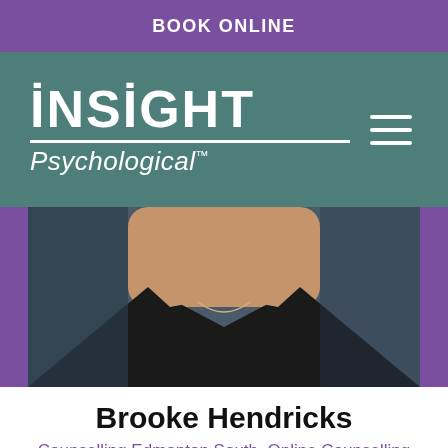BOOK ONLINE
[Figure (logo): Insight Psychological logo in white text on teal background with hamburger menu icon]
[Figure (photo): Professional headshot photo of Brooke Hendricks, a woman wearing a black blazer with a necklace, against a dark background, bordered by purple]
Brooke Hendricks
Counselling Edmonton South, Online Counselling
Adults, Assessments